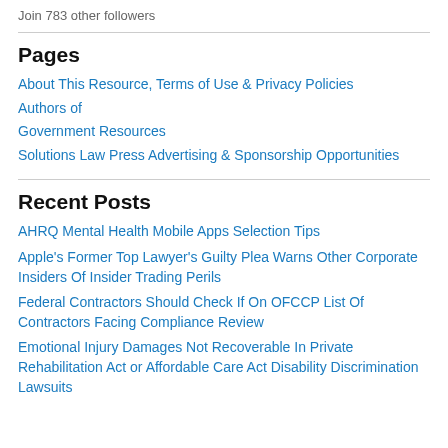Join 783 other followers
Pages
About This Resource, Terms of Use & Privacy Policies
Authors of
Government Resources
Solutions Law Press Advertising & Sponsorship Opportunities
Recent Posts
AHRQ Mental Health Mobile Apps Selection Tips
Apple's Former Top Lawyer's Guilty Plea Warns Other Corporate Insiders Of Insider Trading Perils
Federal Contractors Should Check If On OFCCP List Of Contractors Facing Compliance Review
Emotional Injury Damages Not Recoverable In Private Rehabilitation Act or Affordable Care Act Disability Discrimination Lawsuits